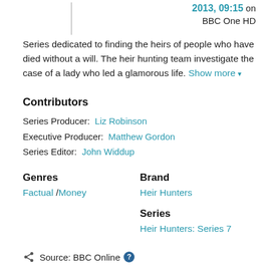2013, 09:15 on BBC One HD
Series dedicated to finding the heirs of people who have died without a will. The heir hunting team investigate the case of a lady who led a glamorous life. Show more ▼
Contributors
Series Producer: Liz Robinson
Executive Producer: Matthew Gordon
Series Editor: John Widdup
Genres
Factual / Money
Brand
Heir Hunters
Series
Heir Hunters: Series 7
Source: BBC Online